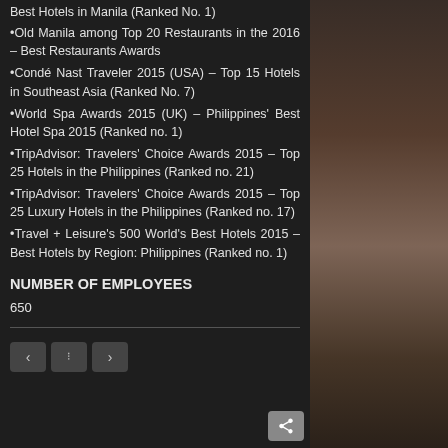Best Hotels in Manila (Ranked No. 1)
Old Manila among Top 20 Restaurants in the 2016 – Best Restaurants Awards
Condé Nast Traveler 2015 (USA) – Top 15 Hotels in Southeast Asia (Ranked No. 7)
World Spa Awards 2015 (UK) – Philippines' Best Hotel Spa 2015 (Ranked no. 1)
TripAdvisor: Travelers' Choice Awards 2015 – Top 25 Hotels in the Philippines (Ranked no. 21)
TripAdvisor: Travelers' Choice Awards 2015 – Top 25 Luxury Hotels in the Philippines (Ranked no. 17)
Travel + Leisure's 500 World's Best Hotels 2015 – Best Hotels by Region: Philippines (Ranked no. 1)
NUMBER OF EMPLOYEES
650
< :: > share